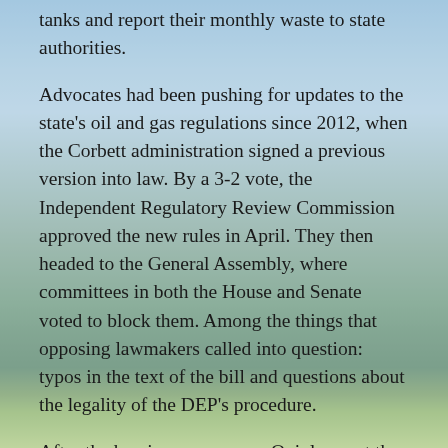tanks and report their monthly waste to state authorities.
Advocates had been pushing for updates to the state's oil and gas regulations since 2012, when the Corbett administration signed a previous version into law. By a 3-2 vote, the Independent Regulatory Review Commission approved the new rules in April. They then headed to the General Assembly, where committees in both the House and Senate voted to block them. Among the things that opposing lawmakers called into question: typos in the text of the bill and questions about the legality of the DEP's procedure.
After the hearings were over, Quigley sent the email that ended his career at the DEP.
What does it mean for Pennsylvania that some